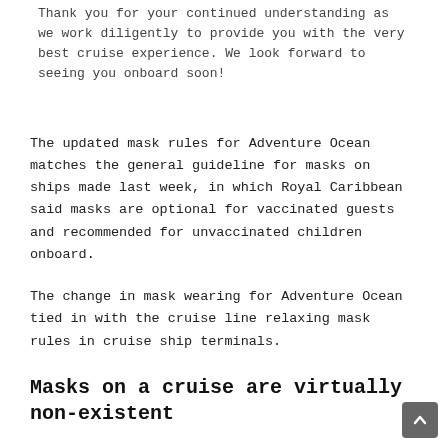Thank you for your continued understanding as we work diligently to provide you with the very best cruise experience. We look forward to seeing you onboard soon!
The updated mask rules for Adventure Ocean matches the general guideline for masks on ships made last week, in which Royal Caribbean said masks are optional for vaccinated guests and recommended for unvaccinated children onboard.
The change in mask wearing for Adventure Ocean tied in with the cruise line relaxing mask rules in cruise ship terminals.
Masks on a cruise are virtually non-existent
Over the last couple of months, mask requirements